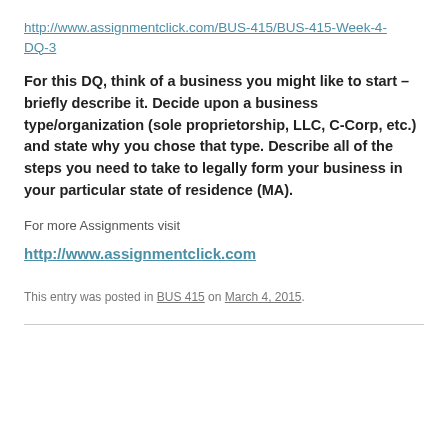http://www.assignmentclick.com/BUS-415/BUS-415-Week-4-DQ-3
For this DQ, think of a business you might like to start – briefly describe it. Decide upon a business type/organization (sole proprietorship, LLC, C-Corp, etc.) and state why you chose that type. Describe all of the steps you need to take to legally form your business in your particular state of residence (MA).
For more Assignments visit
http://www.assignmentclick.com
This entry was posted in BUS 415 on March 4, 2015.